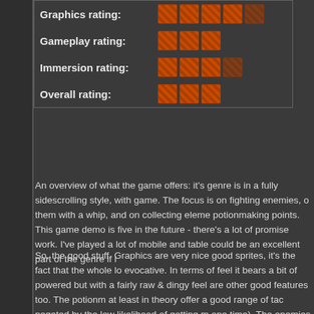| Rating | Score |
| --- | --- |
| Graphics rating: | ●●●●◐ |
| Gameplay rating: | ●●● |
| Immersion rating: | ●●●◐ |
| Overall rating: | ●●● |
An overview of what the game offers: it's genre is in a fully sidescrolling style, with game. The focus is on fighting enemies, o them with a whip, and on collecting eleme potionmaking points. This game demo is five in the future - there's a lot of promise work. I've played a lot of mobile and table could be an excellent part of the genre if i
So, the good stuff. Graphics are very nice good sprites, it's the fact that the whole lo evocative. In terms of feel it bears a bit of powered but with a fairly raw & dingy feel are other good features too. The potionm at least in theory offer a good range of tac negated by the low likelihood of getting m one time). The enemies are a good range odd goblinoid things which are really quite different rooms also show a decent divers